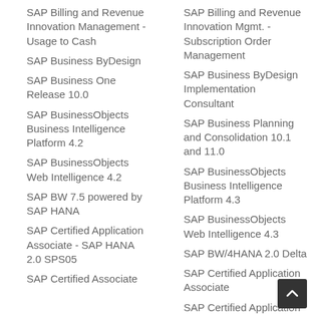SAP Billing and Revenue Innovation Management - Usage to Cash
SAP Billing and Revenue Innovation Mgmt. - Subscription Order Management
SAP Business ByDesign
SAP Business ByDesign Implementation Consultant
SAP Business One Release 10.0
SAP Business Planning and Consolidation 10.1 and 11.0
SAP BusinessObjects Business Intelligence Platform 4.2
SAP BusinessObjects Business Intelligence Platform 4.3
SAP BusinessObjects Web Intelligence 4.2
SAP BusinessObjects Web Intelligence 4.3
SAP BW 7.5 powered by SAP HANA
SAP BW/4HANA 2.0 Delta
SAP Certified Application Associate
SAP Certified Application Associate - SAP HANA 2.0 SPS05
SAP Certified Application Professional
SAP Certified Application Specialist
SAP Certified Associate
SAP Certified Citizen Developer Associate